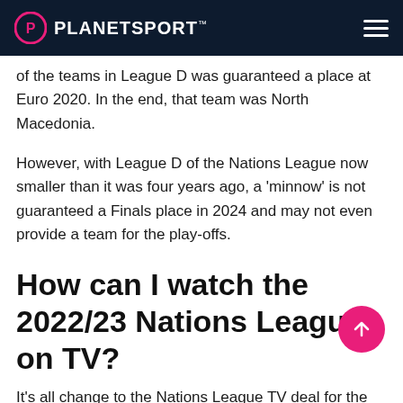PLANETSPORT
of the teams in League D was guaranteed a place at Euro 2020. In the end, that team was North Macedonia.
However, with League D of the Nations League now smaller than it was four years ago, a 'minnow' is not guaranteed a Finals place in 2024 and may not even provide a team for the play-offs.
How can I watch the 2022/23 Nations League on TV?
It's all change to the Nations League TV deal for the 2022/23 edition with Sky Sports no longer holding the UK rights.
Instead, the rights have been split with England games being shown exclusively live on Channel 4.